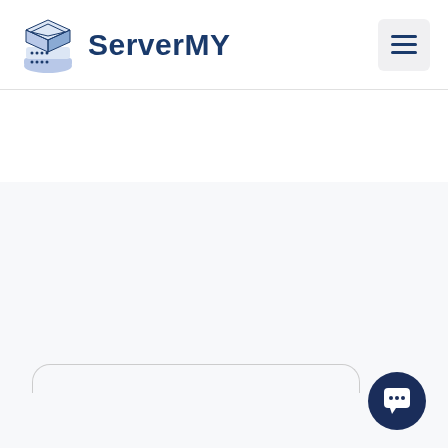ServerMY
[Figure (logo): ServerMY logo with stacked server/cloud icon in blue and navy, next to the text 'ServerMY' in dark navy blue. A hamburger menu button is on the right side of the header.]